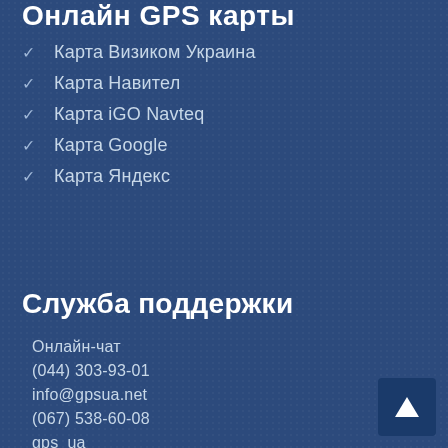Онлайн GPS карты
✓ Карта Визиком Украина
✓ Карта Навител
✓ Карта iGO Navteq
✓ Карта Google
✓ Карта Яндекс
Служба поддержки
Онлайн-чат
(044) 303-93-01
info@gpsua.net
(067) 538-60-08
gps_ua
[Figure (illustration): Back to top button with upward arrow icon in dark blue, positioned at bottom right corner]